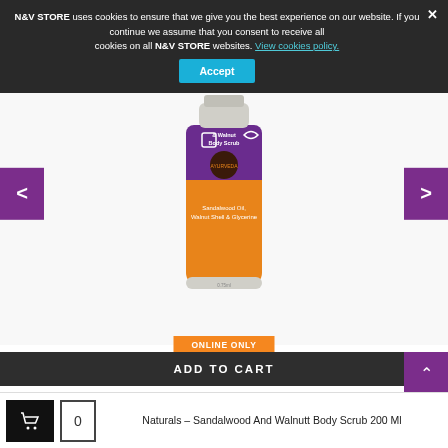N&V STORE uses cookies to ensure that we give you the best experience on our website. If you continue we assume that you consent to receive all cookies on all N&V STORE websites. View cookies policy.
[Figure (photo): Product image of Naturals Sandalwood And Walnut Body Scrub 200ml bottle/tube displayed on a white background with purple navigation arrows on either side]
ONLINE ONLY
ADD TO CART
Naturals – Sandalwood And Walnutt Body Scrub 200 Ml